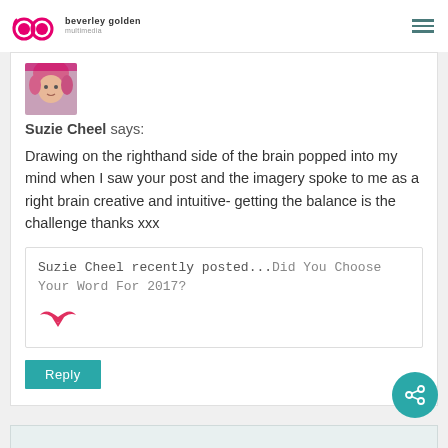beverley golden multmedia
[Figure (photo): Avatar photo of Suzie Cheel, a woman with blonde/pink hair]
Suzie Cheel says:
Drawing on the righthand side of the brain popped into my mind when I saw your post and the imagery spoke to me as a right brain creative and intuitive- getting the balance is the challenge thanks xxx
Suzie Cheel recently posted...Did You Choose Your Word For 2017?
Reply